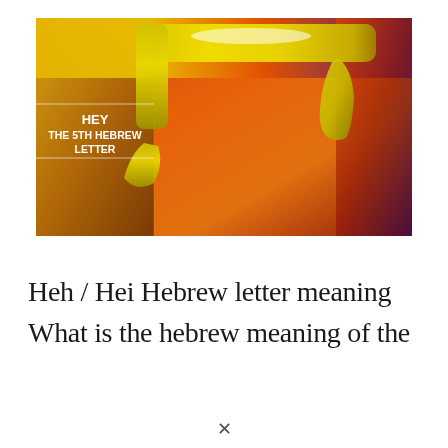[Figure (illustration): Colorful image of the Hebrew letter Hey (Heh) formed from yellow banana-peel-like shapes against a vibrant orange, red, yellow, and blue/purple background. White text overlay on the left reads: HEY THE 5TH HEBREW LETTER]
Heh / Hei Hebrew letter meaning
What is the hebrew meaning of the